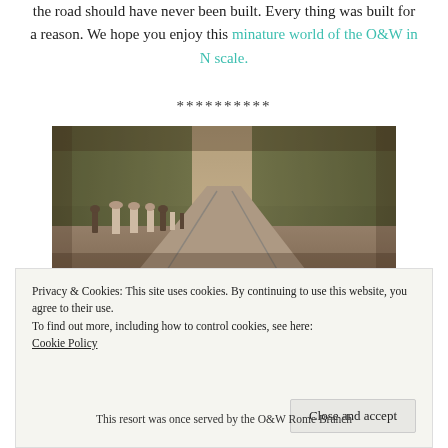the road should have never been built. Every thing was built for a reason. We hope you enjoy this minature world of the O&W in N scale.
**********
[Figure (photo): Sepia historical photograph showing a tree-lined road or rail corridor with a crowd of people in early 1900s attire standing along the left side. The scene recedes into the distance with trees on both sides and what appears to be rail tracks running through the center-right.]
Privacy & Cookies: This site uses cookies. By continuing to use this website, you agree to their use.
To find out more, including how to control cookies, see here:
Cookie Policy
Close and accept
This resort was once served by the O&W Rome Branch